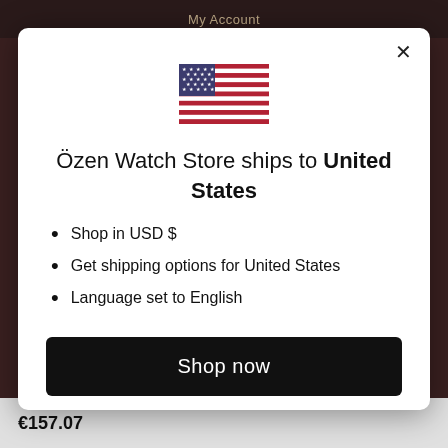My Account
[Figure (illustration): US flag SVG illustration]
Özen Watch Store ships to United States
Shop in USD $
Get shipping options for United States
Language set to English
Shop now
Change shipping country and language
€157.07